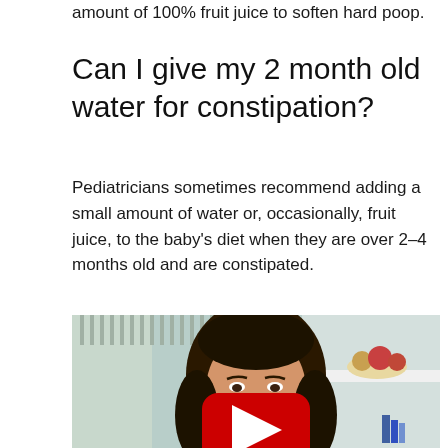amount of 100% fruit juice to soften hard poop.
Can I give my 2 month old water for constipation?
Pediatricians sometimes recommend adding a small amount of water or, occasionally, fruit juice, to the baby’s diet when they are over 2–4 months old and are constipated.
[Figure (screenshot): Video thumbnail showing a woman with dark hair speaking to camera, with a YouTube play button overlay. Background shows a kitchen/living area with a shelf containing fruit bowls and books.]